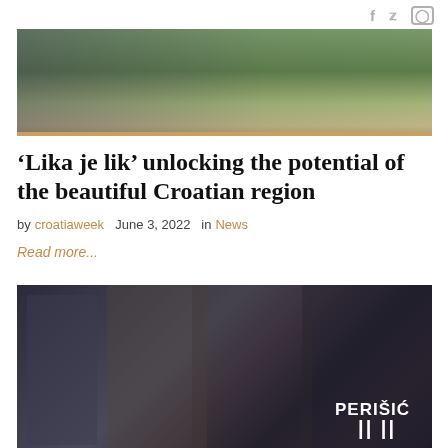f  twitter  instagram (social icons)
[Figure (photo): Outdoor photo showing people and green vegetation/bushes in the background, with a golden/tan bar at the bottom]
‘Lika je lik’ unlocking the potential of the beautiful Croatian region
by croatiaweek   June 3, 2022   in   News
Read more...
[Figure (photo): Croatian football players in dark patterned jerseys celebrating, with PERIŠIĆ visible on the back of a jersey and number 44]